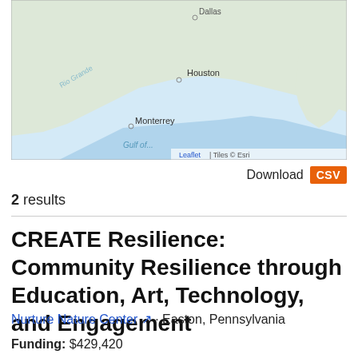[Figure (map): Map showing southeastern United States and part of Mexico, including Houston, Monterrey, and Gulf of Mexico with Leaflet/Esri tile attribution]
Download CSV
2 results
CREATE Resilience: Community Resilience through Education, Art, Technology, and Engagement
Nurture Nature Center · Easton, Pennsylvania
Funding: $429,420